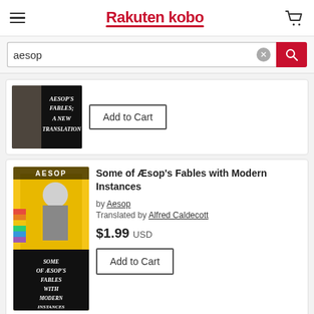Rakuten kobo
aesop
[Figure (illustration): Book cover for Aesop's Fables; A New Translation with dark background and white serif text]
Add to Cart
[Figure (illustration): Book cover for Some of Aesop's Fables with Modern Instances with colorful illustration of a knight-like figure]
Some of Æsop's Fables with Modern Instances
by Aesop
Translated by Alfred Caldecott
$1.99 USD
Add to Cart